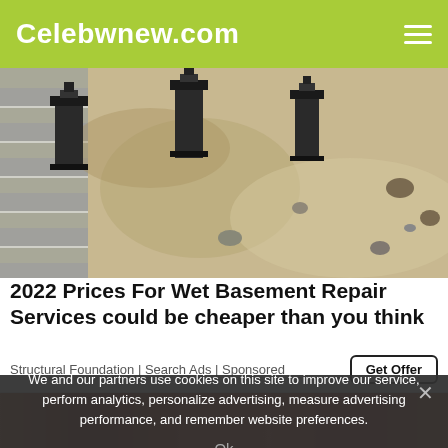Celebwnew.com
[Figure (photo): Excavation site showing foundation repair work with hydraulic piers installed along a concrete block wall, with disturbed soil and construction equipment visible]
2022 Prices For Wet Basement Repair Services could be cheaper than you think
Structural Foundation | Search Ads | Sponsored
Get Offer
We and our partners use cookies on this site to improve our service, perform analytics, personalize advertising, measure advertising performance, and remember website preferences.
Ok